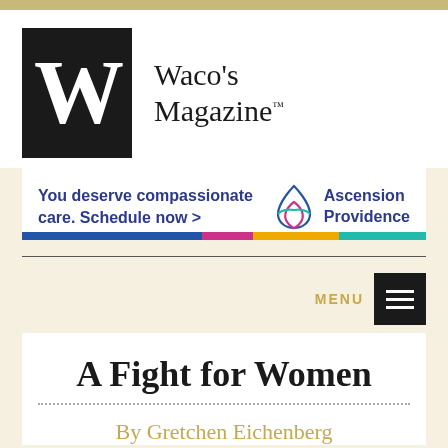[Figure (logo): Waco's Magazine logo: large black square with white W, followed by text 'Waco's Magazine™']
[Figure (infographic): Ascension Providence advertisement banner: 'You deserve compassionate care. Schedule now >' with Ascension Providence logo (triquetra symbol) and name]
MENU
A Fight for Women
By Gretchen Eichenberg